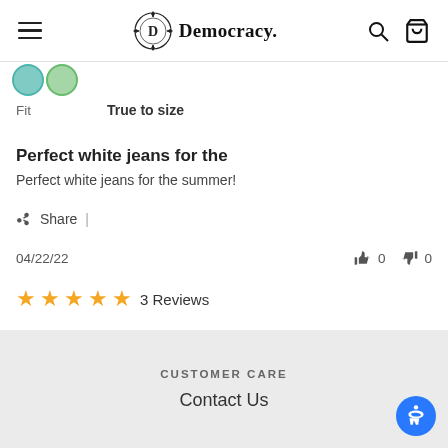Democracy. (logo with menu, search, cart icons)
[Figure (illustration): Two overlapping teal/green avatar circles partially visible at top left]
Fit    True to size
Perfect white jeans for the
Perfect white jeans for the summer!
Share |
04/22/22      👍 0   👎 0
★★★★★ 3 Reviews
CUSTOMER CARE
Contact Us